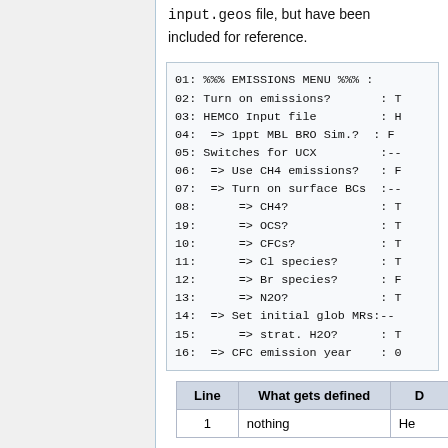input.geos file, but have been included for reference.
[Figure (screenshot): Code block showing EMISSIONS MENU lines 01-16 of input.geos file with parameters like Turn on emissions, HEMCO Input file, Switches for UCX, CH4 emissions, surface BCs, CH4, OCS, CFCs, Cl species, Br species, N2O, Set initial glob MRs, strat. H2O, CFC emission year]
| Line | What gets defined | D |
| --- | --- | --- |
| 1 | nothing | He |